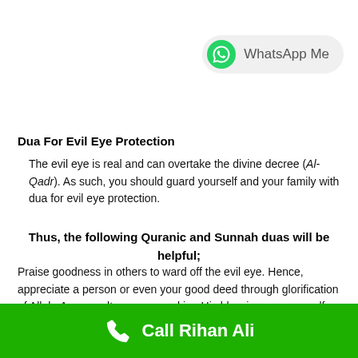[Figure (other): WhatsApp Me button with green WhatsApp logo icon and rounded pill-shaped grey background]
Dua For Evil Eye Protection
The evil eye is real and can overtake the divine decree (Al-Qadr). As such, you should guard yourself and your family with dua for evil eye protection.
Thus, the following Quranic and Sunnah duas will be helpful;
Praise goodness in others to ward off the evil eye. Hence, appreciate a person or even your good deed through glorification of Allah. As a result, you are seeking His blessings on yourself.
[Figure (other): Green call bar at bottom with white phone icon and text 'Call Rihan Ali']